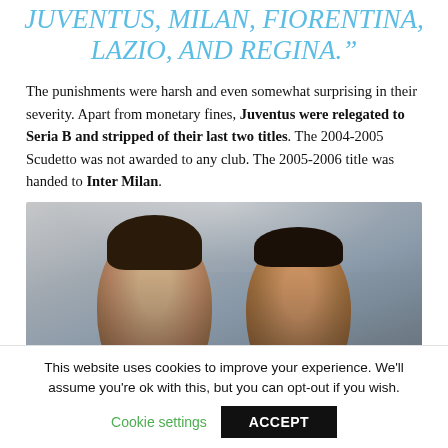JUVENTUS, MILAN, FIORENTINA, LAZIO, AND REGINA.”
The punishments were harsh and even somewhat surprising in their severity. Apart from monetary fines, Juventus were relegated to Seria B and stripped of their last two titles. The 2004-2005 Scudetto was not awarded to any club. The 2005-2006 title was handed to Inter Milan.
[Figure (photo): Two football players photographed in a stadium setting with bright lights in the background. Left player has longer dark hair; right player is smiling.]
This website uses cookies to improve your experience. We’ll assume you’re ok with this, but you can opt-out if you wish.
Cookie settings   ACCEPT